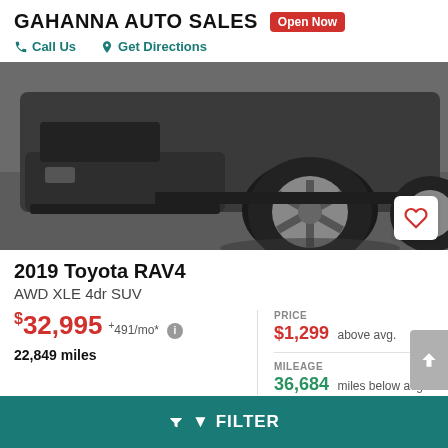GAHANNA AUTO SALES  Open Now
Call Us   Get Directions
[Figure (photo): Close-up photo of the front wheel and lower bumper of a dark gray Toyota RAV4 SUV parked on pavement.]
2019 Toyota RAV4
AWD XLE 4dr SUV
$32,995 +491/mo* i
22,849 miles
PRICE
$1,299 above avg.
MILEAGE
36,684 miles below avg.
FILTER